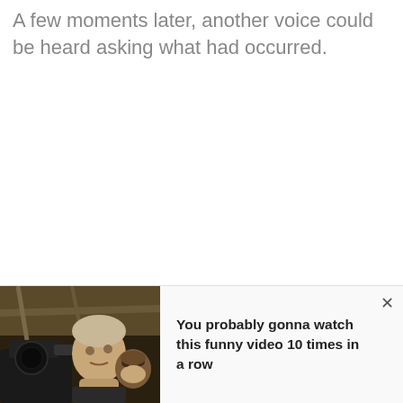A few moments later, another voice could be heard asking what had occurred.
[Figure (photo): Thumbnail image of a person looking upward with camera equipment visible in a workshop setting, used as a video recommendation thumbnail at the bottom of the page.]
You probably gonna watch this funny video 10 times in a row